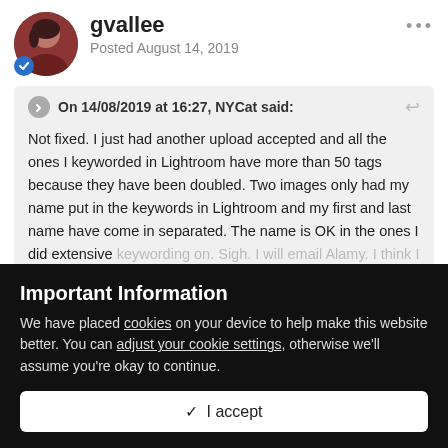gvallee
Posted August 14, 2019
On 14/08/2019 at 16:27, NYCat said:
Not fixed. I just had another upload accepted and all the ones I keyworded in Lightroom have more than 50 tags because they have been doubled. Two images only had my name put in the keywords in Lightroom and my first and last name have come in separated. The name is OK in the ones I did extensive keywording on. Sigh. I will email Alamy. I think I will caption and do super tags so the images will go on sale but I will put off the
Expand
Important Information
We have placed cookies on your device to help make this website better. You can adjust your cookie settings, otherwise we'll assume you're okay to continue.
✓  I accept